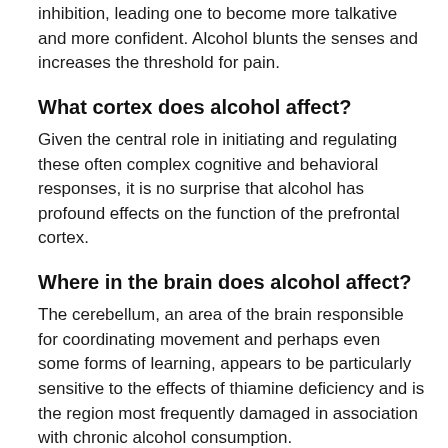inhibition, leading one to become more talkative and more confident. Alcohol blunts the senses and increases the threshold for pain.
What cortex does alcohol affect?
Given the central role in initiating and regulating these often complex cognitive and behavioral responses, it is no surprise that alcohol has profound effects on the function of the prefrontal cortex.
Where in the brain does alcohol affect?
The cerebellum, an area of the brain responsible for coordinating movement and perhaps even some forms of learning, appears to be particularly sensitive to the effects of thiamine deficiency and is the region most frequently damaged in association with chronic alcohol consumption.
What part of the brain is affected by alcohol first?